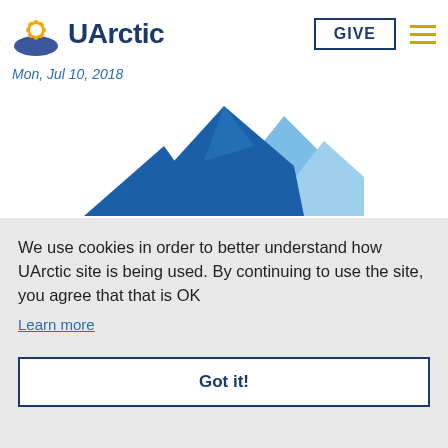UArctic — GIVE
Mon, Jul 10, 2018
[Figure (illustration): UArctic mountain logo — stylized blue and light-blue mountain peaks]
We use cookies in order to better understand how UArctic site is being used. By continuing to use the site, you agree that that is OK
Learn more
Got it!
Held … is a m… press… Arctic region.